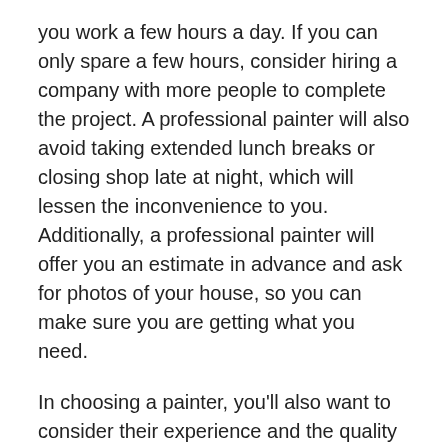you work a few hours a day. If you can only spare a few hours, consider hiring a company with more people to complete the project. A professional painter will also avoid taking extended lunch breaks or closing shop late at night, which will lessen the inconvenience to you. Additionally, a professional painter will offer you an estimate in advance and ask for photos of your house, so you can make sure you are getting what you need.
In choosing a painter, you'll also want to consider their experience and the quality of their work. If they are new to the field, ask to see pictures of their work. Also, make sure they have the proper equipment mix, such as powered wire brushes and pressure washers. Inspect them thoroughly before hiring them. A painting contractor who has the correct equipment mix will be the best choice for your home. If you don't